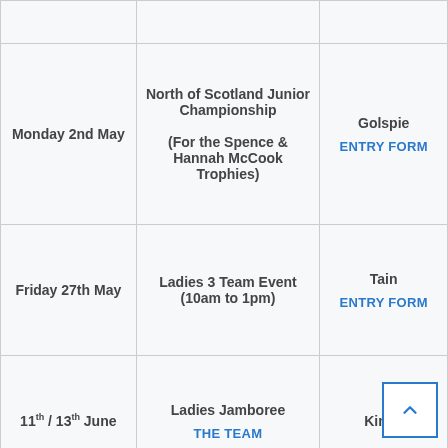| Date | Event | Venue |
| --- | --- | --- |
| Monday 2nd May | North of Scotland Junior Championship
(For the Spence & Hannah McCook Trophies) | Golspie
ENTRY FORM |
| Friday 27th May | Ladies 3 Team Event (10am to 1pm) | Tain
ENTRY FORM |
| 11th / 13th June | Ladies Jamboree
THE TEAM | Kings |
| Sunday | County Foursomes &
(Commonwealth | Boat of Garten |